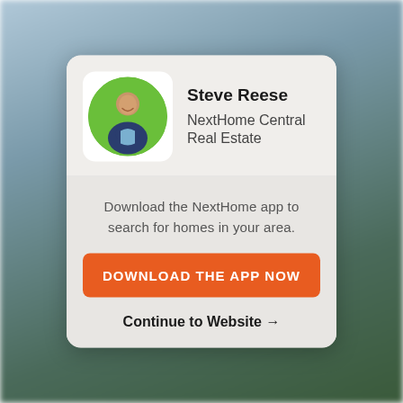[Figure (photo): Blurred outdoor background with sky and building]
[Figure (photo): Circular profile photo of Steve Reese smiling, with green background]
Steve Reese
NextHome Central Real Estate
Download the NextHome app to search for homes in your area.
DOWNLOAD THE APP NOW
Continue to Website →